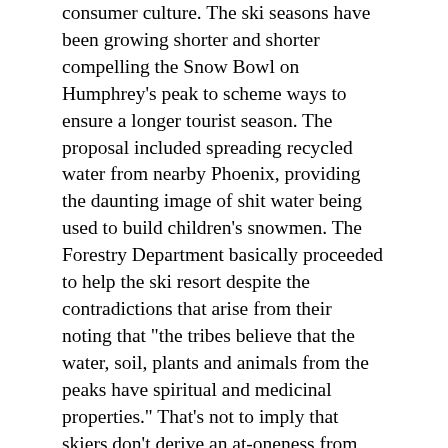consumer culture. The ski seasons have been growing shorter and shorter compelling the Snow Bowl on Humphrey's peak to scheme ways to ensure a longer tourist season. The proposal included spreading recycled water from nearby Phoenix, providing the daunting image of shit water being used to build children's snowmen. The Forestry Department basically proceeded to help the ski resort despite the contradictions that arise from their noting that "the tribes believe that the water, soil, plants and animals from the peaks have spiritual and medicinal properties." That's not to imply that skiers don't derive an at-oneness from doing their thing, but it begs the question, at what price, or rather at whose expense?
The most recent fight coming down the pipe line out west is with the idea to build a Geothermal power plant on Medicine Lake in Northeastern California. This bright idea is being pushed by the Calpine Energy Corporation